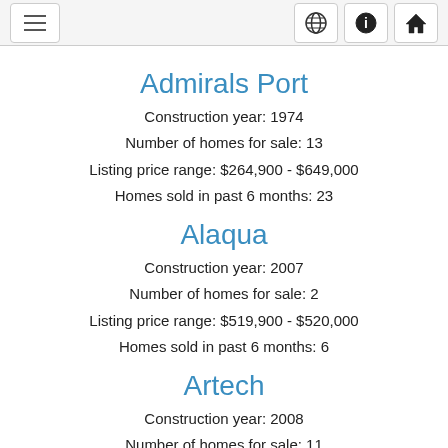Navigation header with menu button and icons
Admirals Port
Construction year: 1974
Number of homes for sale: 13
Listing price range: $264,900 - $649,000
Homes sold in past 6 months: 23
Alaqua
Construction year: 2007
Number of homes for sale: 2
Listing price range: $519,900 - $520,000
Homes sold in past 6 months: 6
Artech
Construction year: 2008
Number of homes for sale: 11
Listing price range: $369,000 - $4,250,000
Homes sold in past 6 months: 13